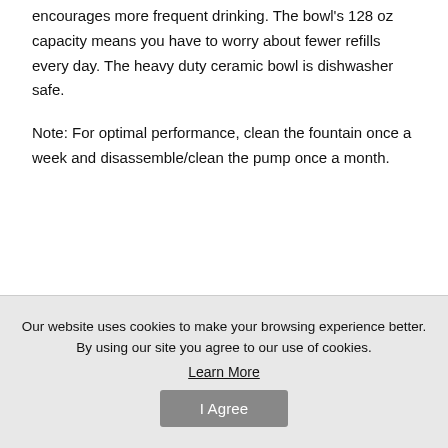encourages more frequent drinking. The bowl's 128 oz capacity means you have to worry about fewer refills every day. The heavy duty ceramic bowl is dishwasher safe.
Note: For optimal performance, clean the fountain once a week and disassemble/clean the pump once a month.
Our website uses cookies to make your browsing experience better. By using our site you agree to our use of cookies.
Learn More
I Agree